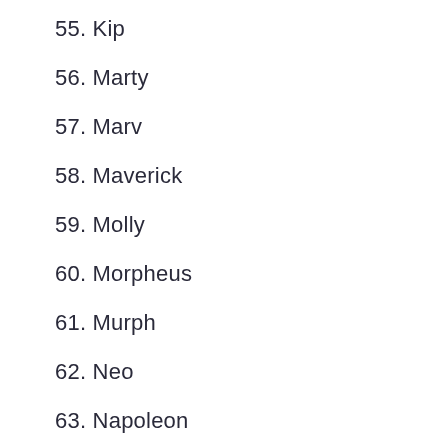55. Kip
56. Marty
57. Marv
58. Maverick
59. Molly
60. Morpheus
61. Murph
62. Neo
63. Napoleon
64. Norman
65. Oda